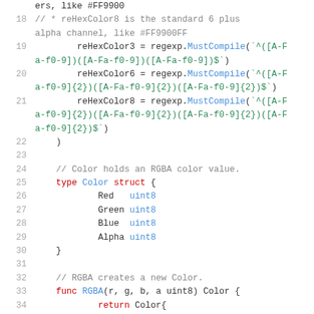[Figure (screenshot): Go source code snippet showing regex color variable assignments and a Color struct definition with RGBA fields and a func RGBA declaration. Lines 17-34 visible.]